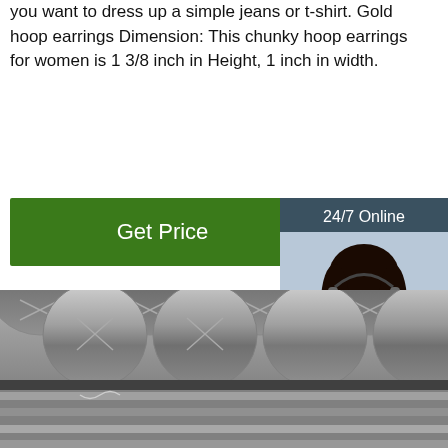you want to dress up a simple jeans or t-shirt. Gold hoop earrings Dimension: This chunky hoop earrings for women is 1 3/8 inch in Height, 1 inch in width.
[Figure (other): Green 'Get Price' button]
[Figure (other): 24/7 Online chat sidebar with woman wearing headset, 'Click here for free chat!' text, and orange QUOTATION button]
[Figure (photo): Photo of steel/aluminum round bars/rods stacked together, some with wire ties and handwritten markings]